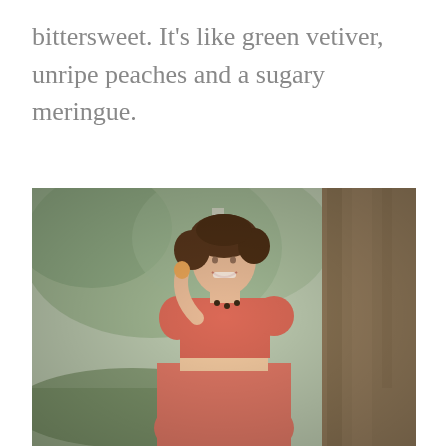bittersweet. It's like green vetiver, unripe peaches and a sugary meringue.
[Figure (photo): A vintage color photograph of a smiling young woman with dark curly hair, wearing a coral/salmon two-piece outfit with a cropped top and full skirt, holding what appears to be a small fruit, leaning against a large tree trunk in an outdoor park setting.]